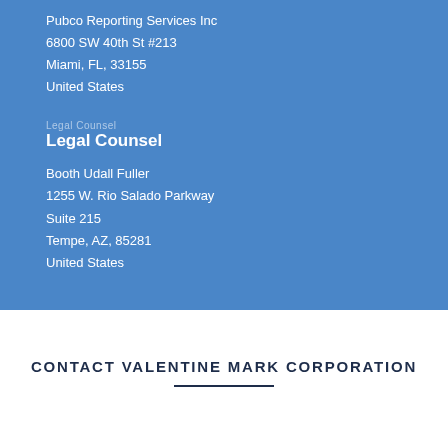Pubco Reporting Services Inc
6800 SW 40th St #213
Miami, FL, 33155
United States
Legal Counsel
Booth Udall Fuller
1255 W. Rio Salado Parkway
Suite 215
Tempe, AZ, 85281
United States
CONTACT VALENTINE MARK CORPORATION